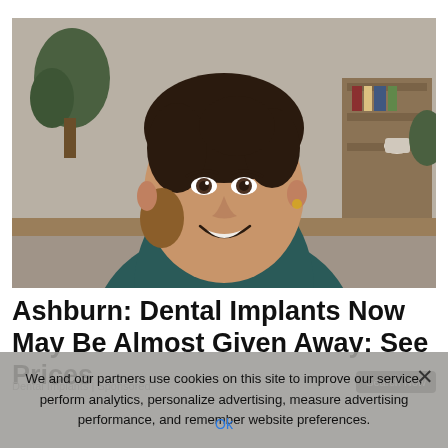[Figure (photo): Smiling woman with dark hair pulled back, wearing a dark teal turtleneck sweater, photographed indoors with plants and shelving in the background.]
Ashburn: Dental Implants Now May Be Almost Given Away: See Prices
We and our partners use cookies on this site to improve our service, perform analytics, personalize advertising, measure advertising performance, and remember website preferences.
Ok